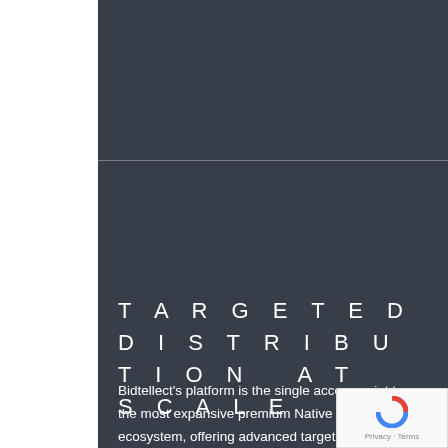TARGETED DISTRIBUTION AT SCALE
Bidtellect's platform is the single access point to the most expansive premium Native supply ecosystem, offering advanced targeting capabilities across all devices including first